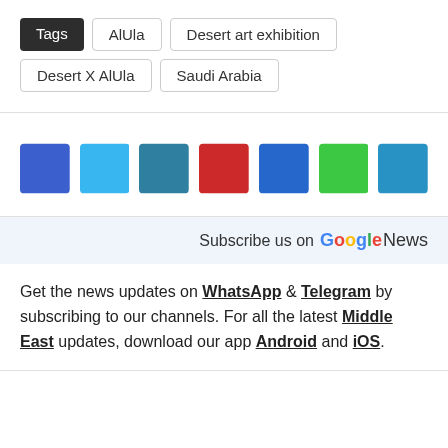Tags  AlUla  Desert art exhibition  Desert X AlUla  Saudi Arabia
[Figure (infographic): Seven social media share buttons as colored squares: Facebook (blue), Twitter (light blue), Teal/share, Pinterest (red), LinkedIn (blue), WhatsApp (green), Telegram (teal-blue)]
Subscribe us on Google News
Get the news updates on WhatsApp & Telegram by subscribing to our channels. For all the latest Middle East updates, download our app Android and iOS.